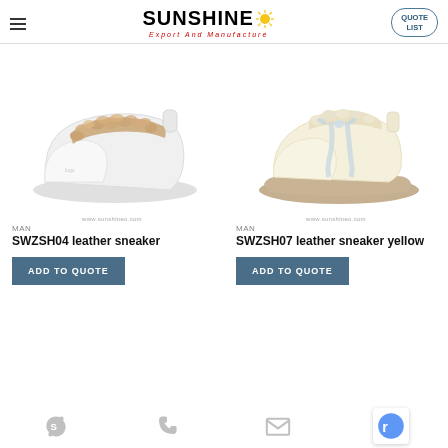SUNSHINE Export And Manufacture — QUOTE LIST
[Figure (photo): White leather sneaker with fluffy beige fur strap detail. Watermark: www.sunshineo.com]
MAN
SWZSH04 leather sneaker
ADD TO QUOTE
[Figure (photo): Cream/yellow leather sneaker with fur collar and wide ribbon laces. Watermark: www.sunshineo.com]
MAN
SWZSH07 leather sneaker yellow
ADD TO QUOTE
Skype | Phone | Email icons